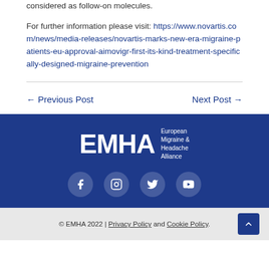considered as follow-on molecules.
For further information please visit: https://www.novartis.com/news/media-releases/novartis-marks-new-era-migraine-patients-eu-approval-aimovigr-first-its-kind-treatment-specifically-designed-migraine-prevention
← Previous Post
Next Post →
[Figure (logo): EMHA - European Migraine & Headache Alliance logo in white on dark blue background, with Facebook, Instagram, Twitter, and YouTube social media icons below]
© EMHA 2022 | Privacy Policy and Cookie Policy.